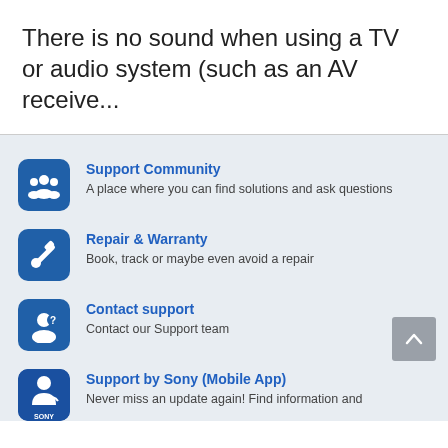There is no sound when using a TV or audio system (such as an AV receive...
Support Community — A place where you can find solutions and ask questions
Repair & Warranty — Book, track or maybe even avoid a repair
Contact support — Contact our Support team
Support by Sony (Mobile App) — Never miss an update again! Find information and